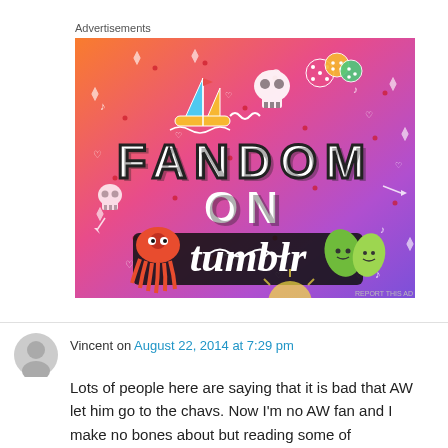[Figure (illustration): Fandom on Tumblr advertisement banner with colorful gradient background (orange to purple), featuring white doodle illustrations (sailboat, skull, squid, leaves, stars, music notes), colored dice, and bold text reading 'FANDOM ON tumblr']
REPORT THIS AD
Vincent on August 22, 2014 at 7:29 pm
Lots of people here are saying that it is bad that AW let him go to the chavs. Now I'm no AW fan and I make no bones about but reading some of